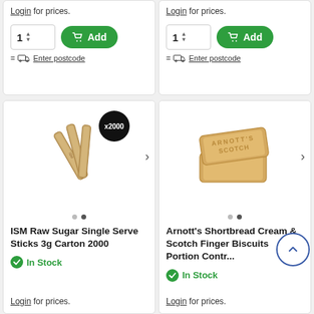Login for prices.
Login for prices.
[Figure (screenshot): Add to cart button with quantity selector (1) and green Add button with cart icon, and Enter postcode link with truck icon — left card]
[Figure (screenshot): Add to cart button with quantity selector (1) and green Add button with cart icon, and Enter postcode link with truck icon — right card]
[Figure (photo): ISM Raw Sugar Single Serve Sticks 3g Carton 2000 — product photo showing three brown sugar sticks with x2000 badge]
ISM Raw Sugar Single Serve Sticks 3g Carton 2000
In Stock
Login for prices.
[Figure (photo): Arnott's Shortbread Cream & Scotch Finger Biscuits Portion Control — product photo showing two biscuits stacked]
Arnott's Shortbread Cream & Scotch Finger Biscuits Portion Contr...
In Stock
Login for prices.